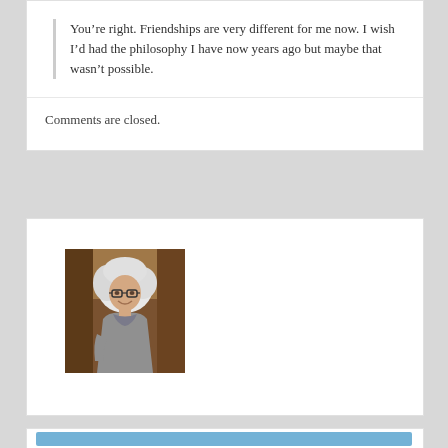You’re right. Friendships are very different for me now. I wish I’d had the philosophy I have now years ago but maybe that wasn’t possible.
Comments are closed.
[Figure (photo): An elderly woman with long white curly hair and glasses, smiling and leaning against a wooden doorframe, wearing a grey top.]